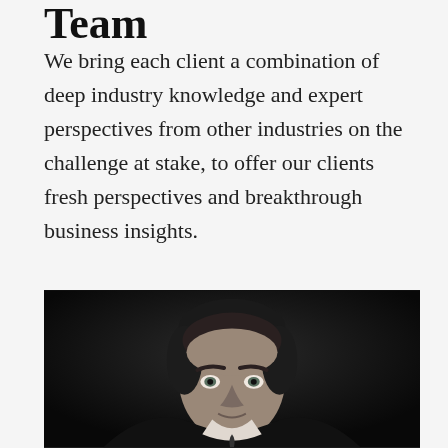Team
We bring each client a combination of deep industry knowledge and expert perspectives from other industries on the challenge at stake, to offer our clients fresh perspectives and breakthrough business insights.
[Figure (photo): Black and white professional portrait photo of a young man with dark hair, looking slightly upward, against a dark background.]